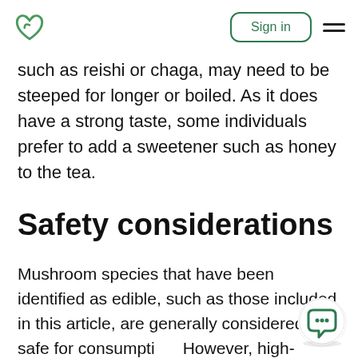Sign in
such as reishi or chaga, may need to be steeped for longer or boiled. As it does have a strong taste, some individuals prefer to add a sweetener such as honey to the tea.
Safety considerations
Mushroom species that have been identified as edible, such as those included in this article, are generally considered as safe for consumption. However, high-quality clinical research is required to determine effective dosing and